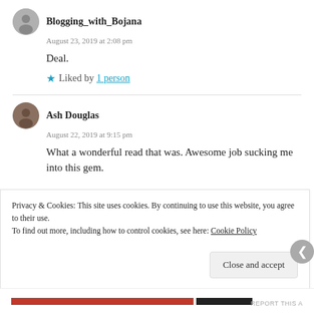Blogging_with_Bojana
August 23, 2019 at 2:08 pm
Deal.
★ Liked by 1 person
Ash Douglas
August 22, 2019 at 9:15 pm
What a wonderful read that was. Awesome job sucking me into this gem.
Privacy & Cookies: This site uses cookies. By continuing to use this website, you agree to their use.
To find out more, including how to control cookies, see here: Cookie Policy
Close and accept